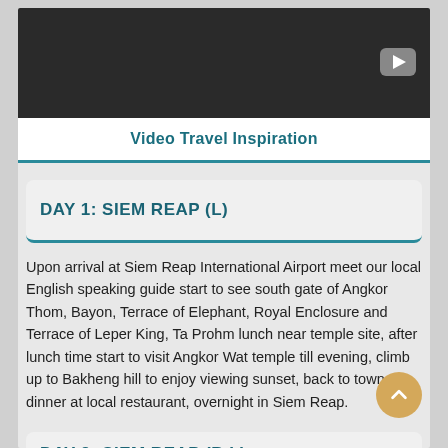[Figure (screenshot): Video thumbnail — dark background with YouTube play button in top-right corner]
Video Travel Inspiration
DAY 1: SIEM REAP (L)
Upon arrival at Siem Reap International Airport meet our local English speaking guide start to see south gate of Angkor Thom, Bayon, Terrace of Elephant, Royal Enclosure and Terrace of Leper King, Ta Prohm lunch near temple site, after lunch time start to visit Angkor Wat temple till evening, climb up to Bakheng hill to enjoy viewing sunset, back to town dinner at local restaurant, overnight in Siem Reap.
DAY 2: SIEM REAP (B,L)